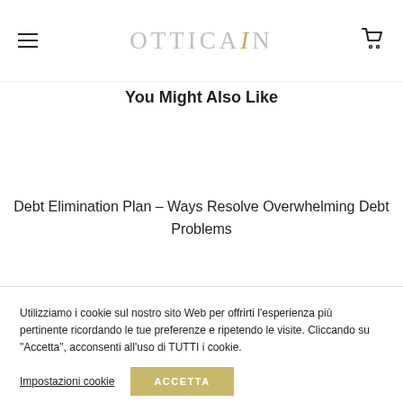OTTICAIN (logo)
You Might Also Like
Debt Elimination Plan – Ways Resolve Overwhelming Debt Problems
Utilizziamo i cookie sul nostro sito Web per offrirti l'esperienza più pertinente ricordando le tue preferenze e ripetendo le visite. Cliccando su "Accetta", acconsenti all'uso di TUTTI i cookie.
Impostazioni cookie   ACCETTA